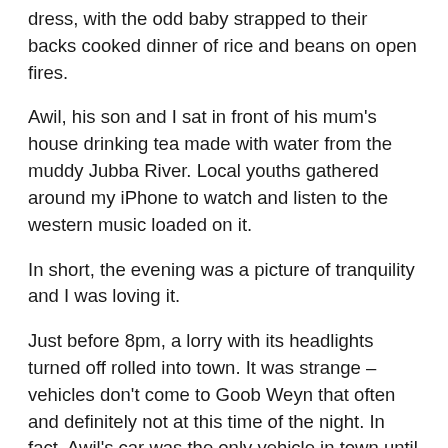dress, with the odd baby strapped to their backs cooked dinner of rice and beans on open fires.
Awil, his son and I sat in front of his mum's house drinking tea made with water from the muddy Jubba River. Local youths gathered around my iPhone to watch and listen to the western music loaded on it.
In short, the evening was a picture of tranquility and I was loving it.
Just before 8pm, a lorry with its headlights turned off rolled into town. It was strange – vehicles don't come to Goob Weyn that often and definitely not at this time of the night. In fact, Awil's car was the only vehicle in town until now.